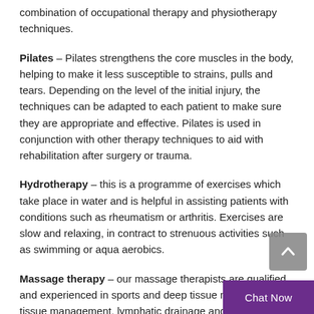combination of occupational therapy and physiotherapy techniques.
Pilates – Pilates strengthens the core muscles in the body, helping to make it less susceptible to strains, pulls and tears. Depending on the level of the initial injury, the techniques can be adapted to each patient to make sure they are appropriate and effective. Pilates is used in conjunction with other therapy techniques to aid with rehabilitation after surgery or trauma.
Hydrotherapy – this is a programme of exercises which take place in water and is helpful in assisting patients with conditions such as rheumatism or arthritis. Exercises are slow and relaxing, in contract to strenuous activities such as swimming or aqua aerobics.
Massage therapy – our massage therapists are qualified and experienced in sports and deep tissue massage, scar tissue management, lymphatic drainage and pre massage.